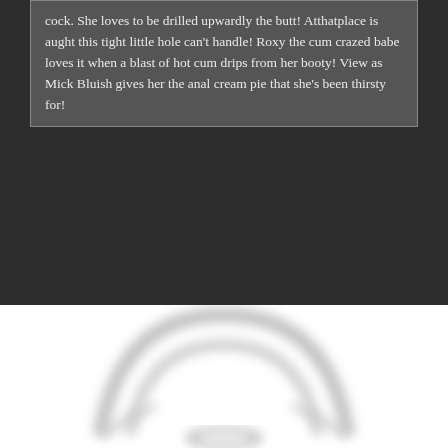cock. She loves to be drilled upwardly the butt! Atthatplace is aught this tight little hole can't handle! Roxy the cum crazed babe loves it when a blast of hot cum drips from her booty! View as Mick Bluish gives her the anal cream pie that she's been thirsty for!
[Figure (illustration): A blurred/faded illustration or logo on white background, showing a circular or arc-like shape]